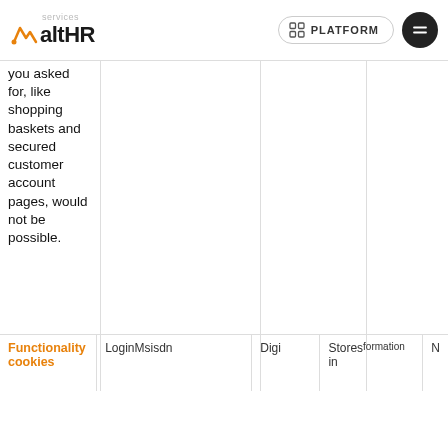services altHR PLATFORM
you asked for, like shopping baskets and secured customer account pages, would not be possible.
| Functionality cookies | LoginMsisdn | Digi | Stores information | N |
| --- | --- | --- | --- | --- |